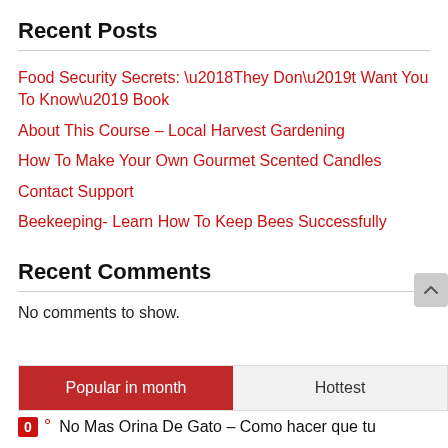Recent Posts
Food Security Secrets: ‘They Don’t Want You To Know’ Book
About This Course – Local Harvest Gardening
How To Make Your Own Gourmet Scented Candles
Contact Support
Beekeeping- Learn How To Keep Bees Successfully
Recent Comments
No comments to show.
Popular in month
Hottest
0 ° No Mas Orina De Gato – Como hacer que tu